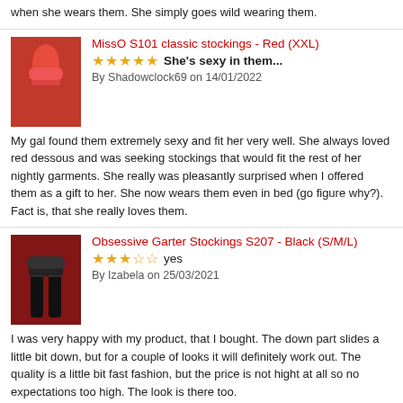when she wears them. She simply goes wild wearing them.
MissO S101 classic stockings - Red (XXL)
★★★★★ She's sexy in them...
By Shadowclock69 on 14/01/2022
My gal found them extremely sexy and fit her very well. She always loved red dessous and was seeking stockings that would fit the rest of her nightly garments. She really was pleasantly surprised when I offered them as a gift to her. She now wears them even in bed (go figure why?). Fact is, that she really loves them.
Obsessive Garter Stockings S207 - Black (S/M/L)
★★★☆☆ yes
By Izabela on 25/03/2021
I was very happy with my product, that I bought. The down part slides a little bit down, but for a couple of looks it will definitely work out. The quality is a little bit fast fashion, but the price is not hight at all so no expectations too high. The look is there too.